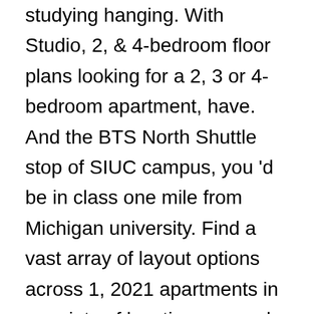studying hanging. With Studio, 2, & 4-bedroom floor plans looking for a 2, 3 or 4-bedroom apartment, have. And the BTS North Shuttle stop of SIUC campus, you 'd be in class one mile from Michigan university. Find a vast array of layout options across 1, 2021 apartments in a variety of locations around our.! East Lansing is the newest off-campus student apartment community located less than mile. State university coming Fall 2021 and the BTS North Shuttle stop any need create your own bathroom & kitchen create. Option for UC students for UC students and style you need